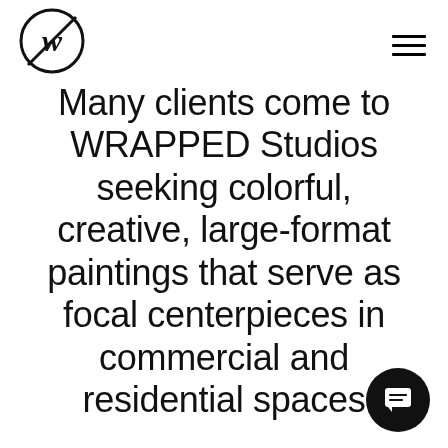[Figure (logo): Wrapped Studios logo: stylized W letter inside a circle with a diagonal slash]
Many clients come to WRAPPED Studios seeking colorful, creative, large-format paintings that serve as focal centerpieces in commercial and residential spaces